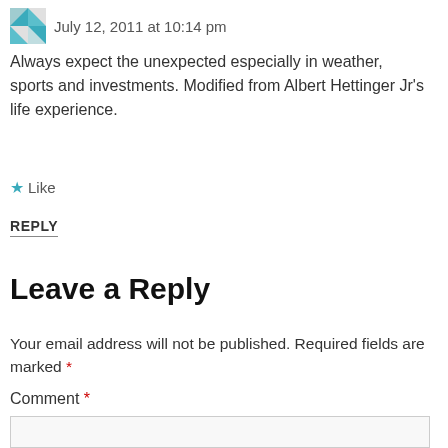July 12, 2011 at 10:14 pm
Always expect the unexpected especially in weather, sports and investments. Modified from Albert Hettinger Jr's life experience.
★ Like
REPLY
Leave a Reply
Your email address will not be published. Required fields are marked *
Comment *